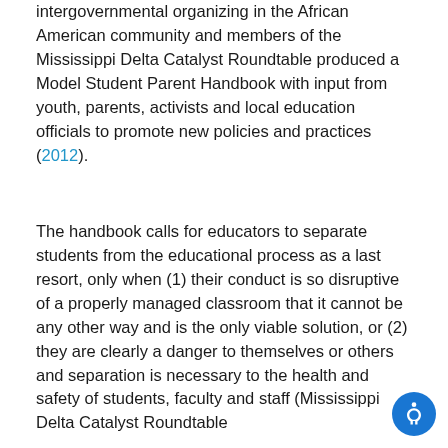intergovernmental organizing in the African American community and members of the Mississippi Delta Catalyst Roundtable produced a Model Student Parent Handbook with input from youth, parents, activists and local education officials to promote new policies and practices (2012).
The handbook calls for educators to separate students from the educational process as a last resort, only when (1) their conduct is so disruptive of a properly managed classroom that it cannot be any other way and is the only viable solution, or (2) they are clearly a danger to themselves or others and separation is necessary to the health and safety of students, faculty and staff (Mississippi Delta Catalyst Roundtable